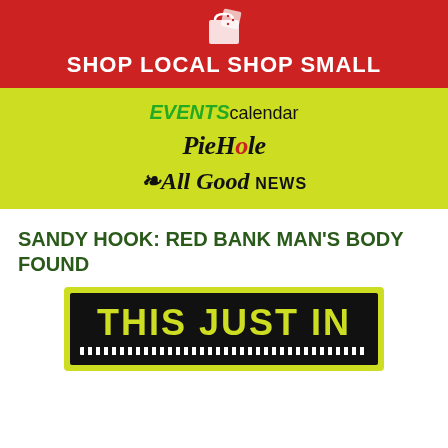[Figure (logo): Red banner with shop bag/dice icon and text SHOP LOCAL SHOP SMALL in white bold on red background]
[Figure (logo): Yellow-green banner with EVENTS calendar, PieHole, and All Good NEWS logos stacked vertically]
SANDY HOOK: RED BANK MAN'S BODY FOUND
[Figure (illustration): Black sign with bright yellow-green bold text THIS JUST IN, framed by yellow-green border]